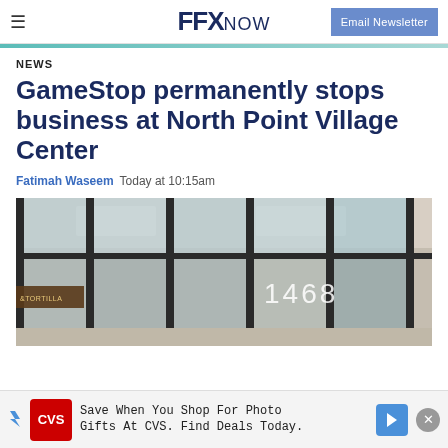FFX NOW — Email Newsletter
NEWS
GameStop permanently stops business at North Point Village Center
Fatimah Waseem  Today at 10:15am
[Figure (photo): Exterior storefront photo showing a commercial building with large glass windows and the number 1468 visible, with a Rice & Tortilla restaurant sign partially visible on the left.]
Save When You Shop For Photo Gifts At CVS. Find Deals Today.